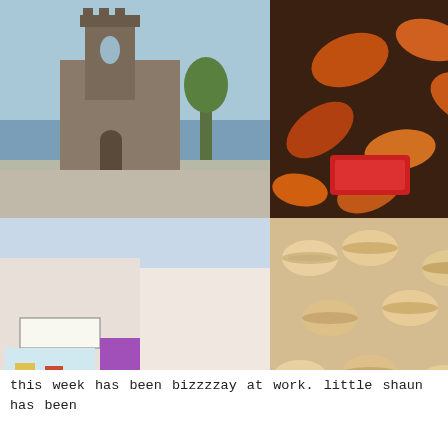[Figure (photo): A 4x3 collage of 12 Instagram-style photos including: a church building, autumn leaves on chocolate, floral fabric/paper, a white building exterior, a street with shops, macarons/cookies, a pink/purple sunset cityscape, a food spread with sushi and sandwiches, makeup and cosmetics with floral background, a notebook with coffee cup, tall ship masts against blue sky, an Instax camera with a newborn baby, instax photos scattered, two women with sunglasses, a large burger, and a sleeping newborn baby.]
this week has been bizzzzay at work. little shaun has been